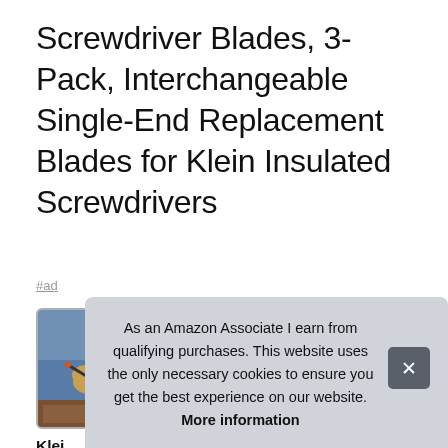Screwdriver Blades, 3-Pack, Interchangeable Single-End Replacement Blades for Klein Insulated Screwdrivers
#ad
[Figure (photo): Four thumbnail images of Klein screwdriver blades: first shows person using screwdriver, remaining three show individual orange/black screwdriver blades on white background]
Klein
slim
blac
Slotted; and a #1 Square / #2 Square
As an Amazon Associate I earn from qualifying purchases. This website uses the only necessary cookies to ensure you get the best experience on our website. More information